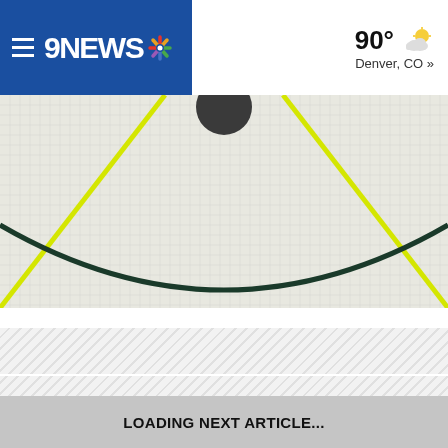9NEWS — 90° Denver, CO »
[Figure (photo): Close-up overhead view of a tennis or pickleball court with dark teal arc line, yellow court boundary lines, and a dark ball at top center on a grid-pattern playing surface]
[Figure (other): Diagonal-striped gray placeholder loading strip]
[Figure (other): Diagonal-striped gray placeholder loading strip]
LOADING NEXT ARTICLE...